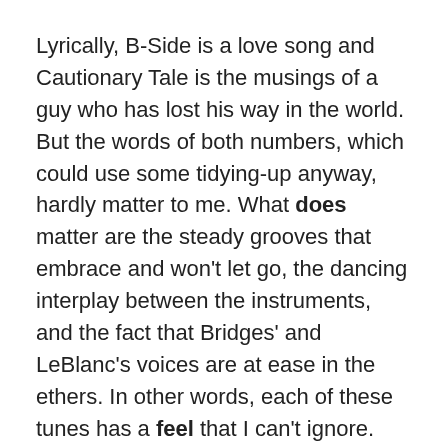Lyrically, B-Side is a love song and Cautionary Tale is the musings of a guy who has lost his way in the world. But the words of both numbers, which could use some tidying-up anyway, hardly matter to me. What does matter are the steady grooves that embrace and won't let go, the dancing interplay between the instruments, and the fact that Bridges' and LeBlanc's voices are at ease in the ethers. In other words, each of these tunes has a feel that I can't ignore.
B-Side came out this month and is part of a continuing collaboration between Bridges, who has immersed himself in soul and other musical genres since breaking onto the scene in 2015, and the trance-rock trio with the unpronounceable name. Cautionary Tale reached the marketplace in 2016. It gets played now and then on radio